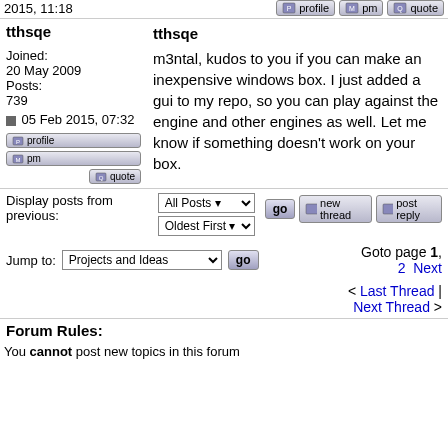2015, 11:18
tthsqe
tthsqe
m3ntal, kudos to you if you can make an inexpensive windows box. I just added a gui to my repo, so you can play against the engine and other engines as well. Let me know if something doesn't work on your box.
Joined: 20 May 2009
Posts: 739
05 Feb 2015, 07:32
Display posts from previous: All Posts Oldest First
Goto page 1, 2 Next
Jump to: Projects and Ideas
< Last Thread | Next Thread >
Forum Rules:
You cannot post new topics in this forum